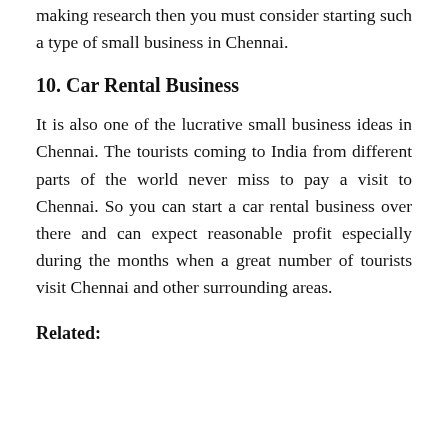making research then you must consider starting such a type of small business in Chennai.
10. Car Rental Business
It is also one of the lucrative small business ideas in Chennai. The tourists coming to India from different parts of the world never miss to pay a visit to Chennai. So you can start a car rental business over there and can expect reasonable profit especially during the months when a great number of tourists visit Chennai and other surrounding areas.
Related: